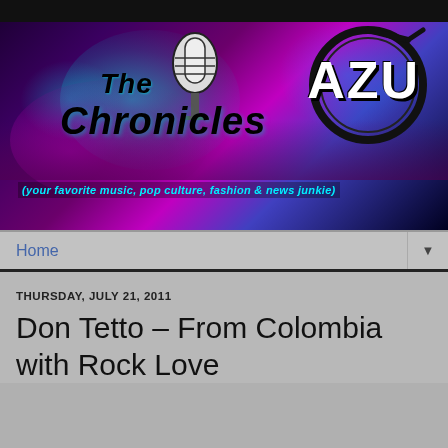[Figure (illustration): The Chronicles AZU blog banner with colorful city skyline background in purple and cyan tones, a microphone icon, guitar circle logo, and text reading 'The Chronicles AZU (your favorite music, pop culture, fashion & news junkie)']
Home
THURSDAY, JULY 21, 2011
Don Tetto – From Colombia with Rock Love